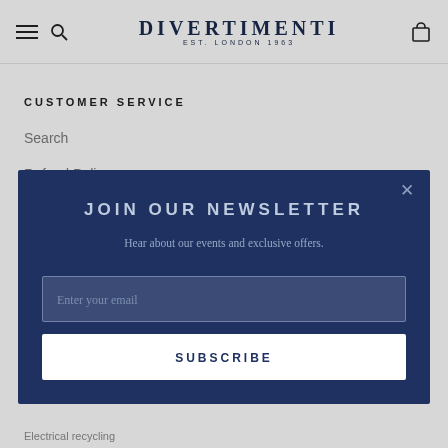DIVERTIMENTI EST. LONDON 1963
CUSTOMER SERVICE
Search
Refund Policy
JOIN OUR NEWSLETTER
Hear about our events and exclusive offers.
Enter your email
SUBSCRIBE
Electrical recycling